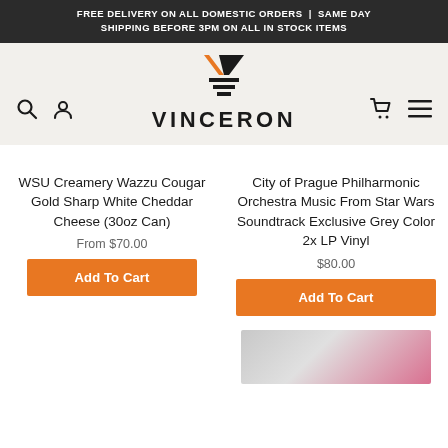FREE DELIVERY ON ALL DOMESTIC ORDERS | SAME DAY SHIPPING BEFORE 3PM ON ALL IN STOCK ITEMS
[Figure (logo): Vinceron logo with orange and black chevron/triangle icon above the word VINCERON in bold caps]
WSU Creamery Wazzu Cougar Gold Sharp White Cheddar Cheese (30oz Can)
From $70.00
Add To Cart
City of Prague Philharmonic Orchestra Music From Star Wars Soundtrack Exclusive Grey Color 2x LP Vinyl
$80.00
Add To Cart